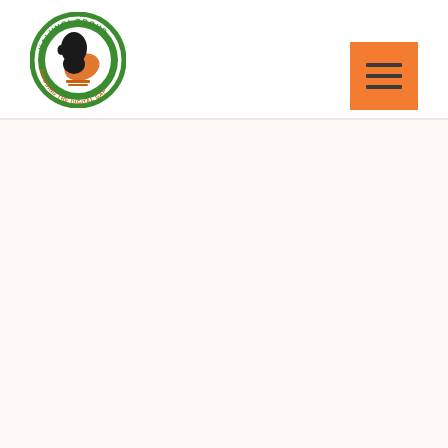[Figure (logo): Kalungi Group logo — circular badge with green outer ring, dark silhouette of a face with an orange hand, text 'KALUNGI GROUP' at top and 'BRIDGING THE DIGITAL GAP' at bottom]
[Figure (other): Orange square hamburger/menu button with three horizontal dark lines]